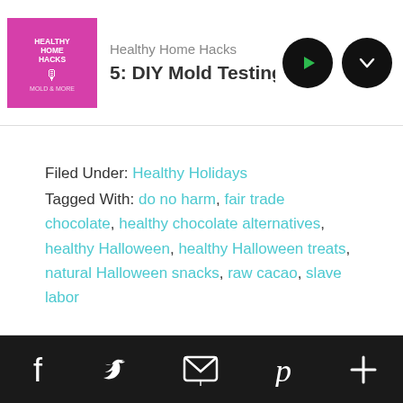Healthy Home Hacks — 5: DIY Mold Testing that Won't Brea...
Filed Under: Healthy Holidays
Tagged With: do no harm, fair trade chocolate, healthy chocolate alternatives, healthy Halloween, healthy Halloween treats, natural Halloween snacks, raw cacao, slave labor
Social share icons: Facebook, Twitter, Email, Pinterest, More